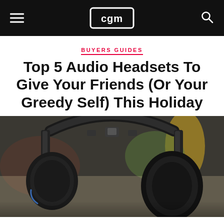CGM
BUYERS GUIDES
Top 5 Audio Headsets To Give Your Friends (Or Your Greedy Self) This Holiday
[Figure (photo): Close-up photo of a black gaming headset with adjustable headband and ear cups, photographed against a blurred background with green plants and yellow object visible.]